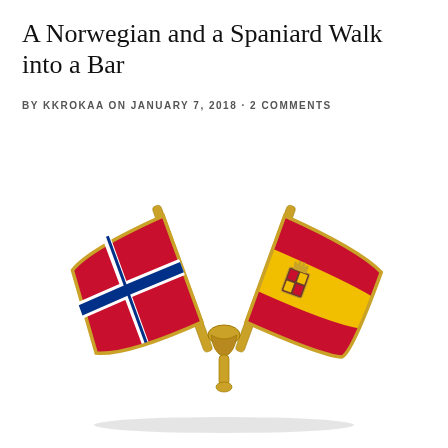A Norwegian and a Spaniard Walk into a Bar
BY KKROKAA ON JANUARY 7, 2018 · 2 COMMENTS
[Figure (photo): A friendship pin/badge showing two crossed flag pins — the Norwegian flag (red with blue and white Nordic cross) on the left and the Spanish flag (red-yellow-red with coat of arms) on the right, joined at a gold pin base.]